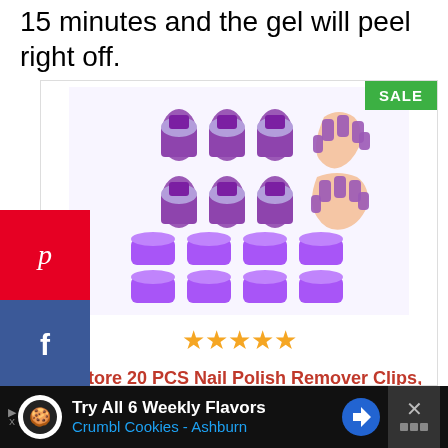15 minutes and the gel will peel right off.
[Figure (photo): Product photo of Akstore 20 PCS Nail Polish Remover Clips showing purple nail polish remover clips and clips being worn on fingers, with a SALE badge in the top right corner. Below the image are 4.5 star ratings.]
Akstore 20 PCS Nail Polish Remover Clips, Toenail and Finger Gel Nail Polish Remover Clips Acrylic...
[Figure (other): Advertisement bar at bottom: Try All 6 Weekly Flavors - Crumbl Cookies - Ashburn, with navigation arrow icon and close button]